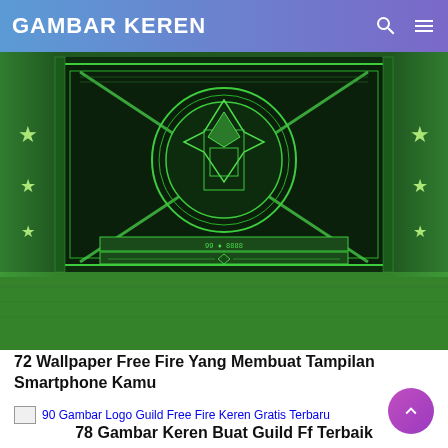GAMBAR KEREN
[Figure (illustration): Decorative green Free Fire wallpaper with geometric tribal/art deco design, stars on sides, central medallion, dark green background with bright green geometric patterns]
72 Wallpaper Free Fire Yang Membuat Tampilan Smartphone Kamu
[Figure (photo): Broken image placeholder for: 90 Gambar Logo Guild Free Fire Keren Gratis Terbaru]
78 Gambar Keren Buat Guild Ff Terbaik